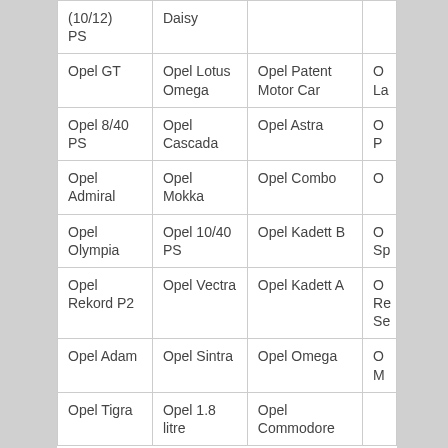| (10/12) PS | Daisy |  |  |
| Opel GT | Opel Lotus Omega | Opel Patent Motor Car | O La |
| Opel 8/40 PS | Opel Cascada | Opel Astra | O P |
| Opel Admiral | Opel Mokka | Opel Combo | O |
| Opel Olympia | Opel 10/40 PS | Opel Kadett B | O Sp |
| Opel Rekord P2 | Opel Vectra | Opel Kadett A | O Re Se |
| Opel Adam | Opel Sintra | Opel Omega | O M |
| Opel Tigra | Opel 1.8 litre | Opel Commodore |  |